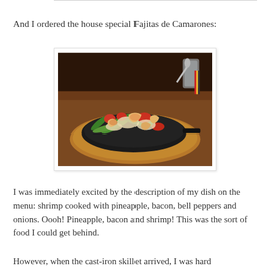And I ordered the house special Fajitas de Camarones:
[Figure (photo): A sizzling cast-iron skillet of shrimp fajitas with green beans, red bell peppers, onions, and shrimp served on a wooden oval platter on a restaurant table, with a glass and utensils visible in the background.]
I was immediately excited by the description of my dish on the menu: shrimp cooked with pineapple, bacon, bell peppers and onions. Oooh! Pineapple, bacon and shrimp! This was the sort of food I could get behind.
However, when the cast-iron skillet arrived, I was hard